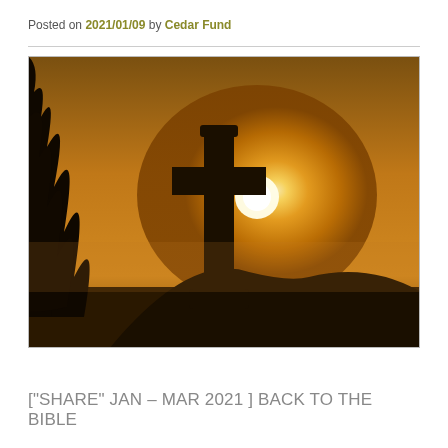Posted on 2021/01/09 by Cedar Fund
[Figure (photo): Silhouette of a stone cross against a warm golden sunset sky, with dark tree silhouettes on the left side.]
["SHARE" JAN – MAR 2021 ] BACK TO THE BIBLE